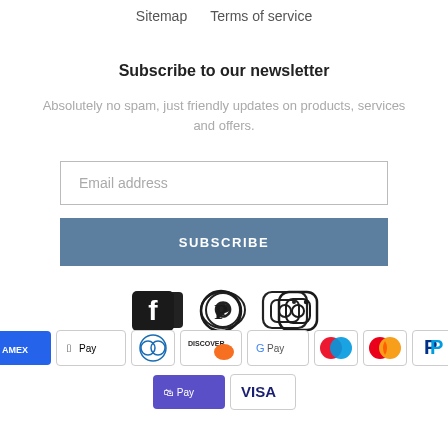Sitemap    Terms of service
Subscribe to our newsletter
Absolutely no spam, just friendly updates on products, services and offers.
Email address
SUBSCRIBE
[Figure (other): Social media icons: Facebook, Pinterest, Instagram]
[Figure (other): Payment method badges: Amex, Apple Pay, Diners Club, Discover, Google Pay, Maestro, Mastercard, PayPal, Shop Pay, Visa]